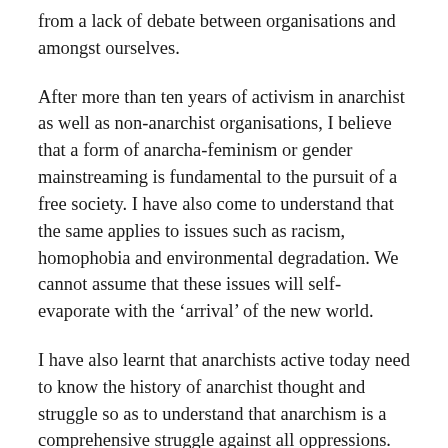from a lack of debate between organisations and amongst ourselves.
After more than ten years of activism in anarchist as well as non-anarchist organisations, I believe that a form of anarcha-feminism or gender mainstreaming is fundamental to the pursuit of a free society. I have also come to understand that the same applies to issues such as racism, homophobia and environmental degradation. We cannot assume that these issues will self-evaporate with the ‘arrival’ of the new world.
I have also learnt that anarchists active today need to know the history of anarchist thought and struggle so as to understand that anarchism is a comprehensive struggle against all oppressions. Anarchism, being fundamentally a practice of ideas, does not necessarily